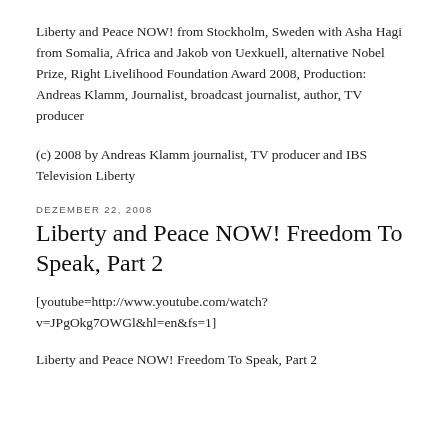Liberty and Peace NOW! from Stockholm, Sweden with Asha Hagi from Somalia, Africa and Jakob von Uexkuell, alternative Nobel Prize, Right Livelihood Foundation Award 2008, Production: Andreas Klamm, Journalist, broadcast journalist, author, TV producer
(c) 2008 by Andreas Klamm journalist, TV producer and IBS Television Liberty
DEZEMBER 22, 2008
Liberty and Peace NOW! Freedom To Speak, Part 2
[youtube=http://www.youtube.com/watch?v=JPgOkg7OWGl&hl=en&fs=1]
Liberty and Peace NOW! Freedom To Speak, Part 2